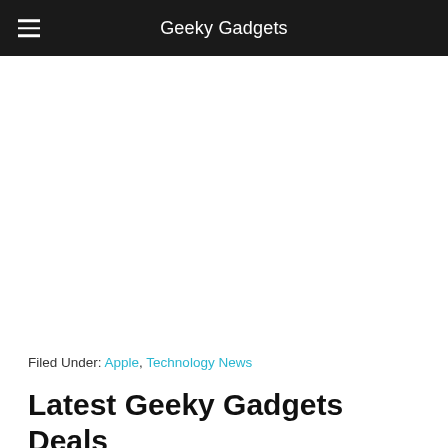Geeky Gadgets
Filed Under: Apple, Technology News
Latest Geeky Gadgets Deals